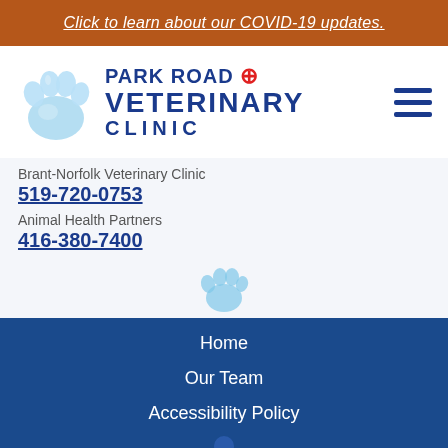Click to learn about our COVID-19 updates.
[Figure (logo): Park Road Veterinary Clinic logo with blue paw print and red plus sign]
Brant-Norfolk Veterinary Clinic
519-720-0753
Animal Health Partners
416-380-7400
Home
Our Team
Accessibility Policy